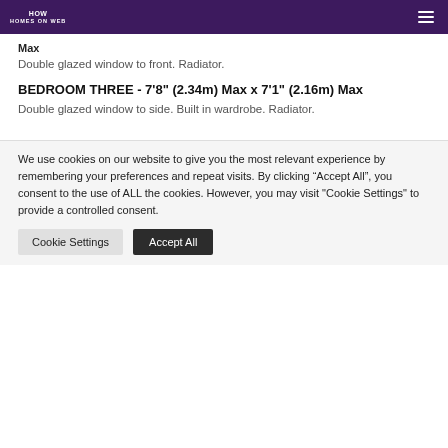HOW Homes on Web
Max
Double glazed window to front. Radiator.
BEDROOM THREE - 7'8" (2.34m) Max x 7'1" (2.16m) Max
Double glazed window to side. Built in wardrobe. Radiator.
We use cookies on our website to give you the most relevant experience by remembering your preferences and repeat visits. By clicking “Accept All”, you consent to the use of ALL the cookies. However, you may visit "Cookie Settings" to provide a controlled consent.